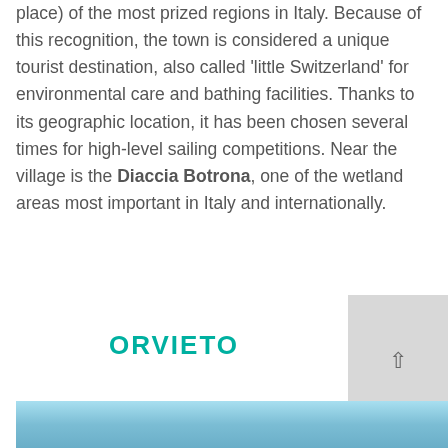place) of the most prized regions in Italy. Because of this recognition, the town is considered a unique tourist destination, also called 'little Switzerland' for environmental care and bathing facilities. Thanks to its geographic location, it has been chosen several times for high-level sailing competitions. Near the village is the Diaccia Botrona, one of the wetland areas most important in Italy and internationally.
ORVIETO
[Figure (photo): Panoramic photo of Orvieto cityscape with blue sky]